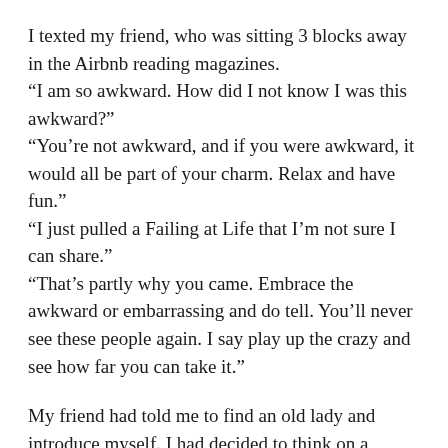I texted my friend, who was sitting 3 blocks away in the Airbnb reading magazines.
"I am so awkward. How did I not know I was this awkward?"
"You're not awkward, and if you were awkward, it would all be part of your charm. Relax and have fun."
"I just pulled a Failing at Life that I'm not sure I can share."
"That's partly why you came. Embrace the awkward or embarrassing and do tell. You'll never see these people again. I say play up the crazy and see how far you can take it."
My friend had told me to find an old lady and introduce myself. I had decided to think on a grander scale. I wanted to find not just any old lady at the conference. I wanted to find THE old lady at the conference: Katherine Paterson herself.
I was on a quest to meet the old lady.